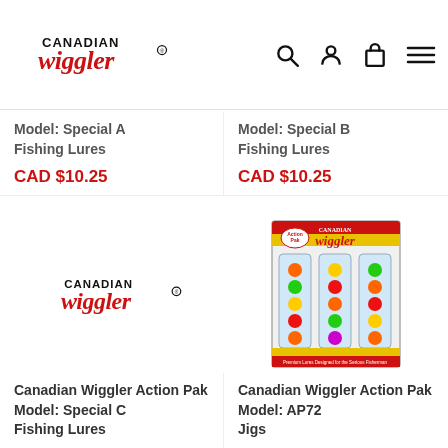[Figure (logo): Canadian Wiggler logo in red script with 'CANADIAN' in bold black text above 'wiggler' in red italic script, with registered trademark symbol]
Model: Special A
Fishing Lures
CAD $10.25
Model: Special B
Fishing Lures
CAD $10.25
[Figure (logo): Canadian Wiggler logo placeholder image]
[Figure (photo): Canadian Wiggler Action Pak product packaging showing colorful fishing jigs in a blister pack with yellow and red header]
Canadian Wiggler Action Pak
Model: Special C
Fishing Lures
Canadian Wiggler Action Pak
Model: AP72
Jigs